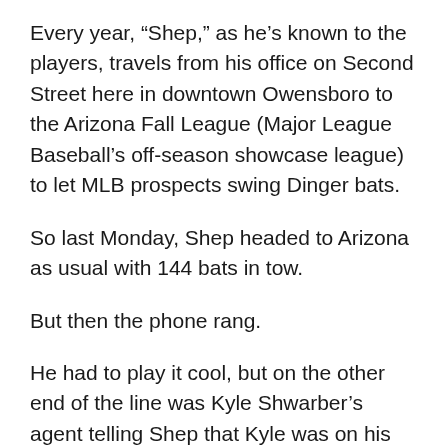Every year, “Shep,” as he’s known to the players, travels from his office on Second Street here in downtown Owensboro to the Arizona Fall League (Major League Baseball’s off-season showcase league) to let MLB prospects swing Dinger bats.
So last Monday, Shep headed to Arizona as usual with 144 bats in tow.
But then the phone rang.
He had to play it cool, but on the other end of the line was Kyle Shwarber’s agent telling Shep that Kyle was on his way to Arizona. Which was a big deal because Kyle was originally expected to be out the rest of the year following a surgery to reconstruct his left knee.
Last year Schwarber slugged 16 home runs in 232 at bats – all with a Dinger – plus five more HRs during the